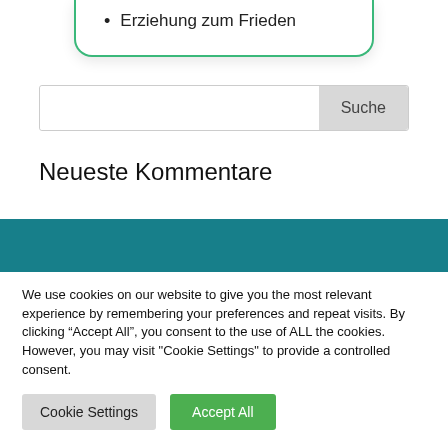Erziehung zum Frieden
Suche
Neueste Kommentare
We use cookies on our website to give you the most relevant experience by remembering your preferences and repeat visits. By clicking “Accept All”, you consent to the use of ALL the cookies. However, you may visit "Cookie Settings" to provide a controlled consent.
Cookie Settings
Accept All